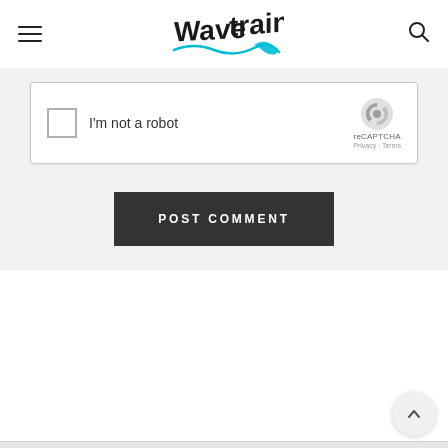WaveTrain — site header with hamburger menu, logo, and search icon
[Figure (screenshot): reCAPTCHA widget showing checkbox with 'I'm not a robot' label and reCAPTCHA logo with Privacy and Terms links]
POST COMMENT
[Figure (other): Scroll-to-top circular button with up caret arrow]